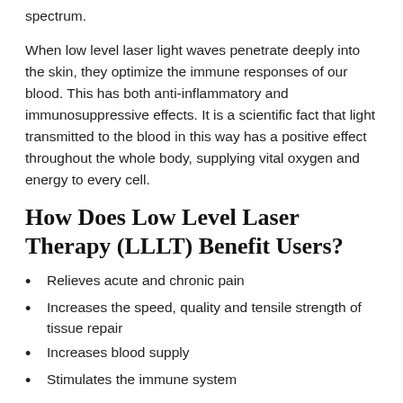spectrum.
When low level laser light waves penetrate deeply into the skin, they optimize the immune responses of our blood. This has both anti-inflammatory and immunosuppressive effects. It is a scientific fact that light transmitted to the blood in this way has a positive effect throughout the whole body, supplying vital oxygen and energy to every cell.
How Does Low Level Laser Therapy (LLLT) Benefit Users?
Relieves acute and chronic pain
Increases the speed, quality and tensile strength of tissue repair
Increases blood supply
Stimulates the immune system